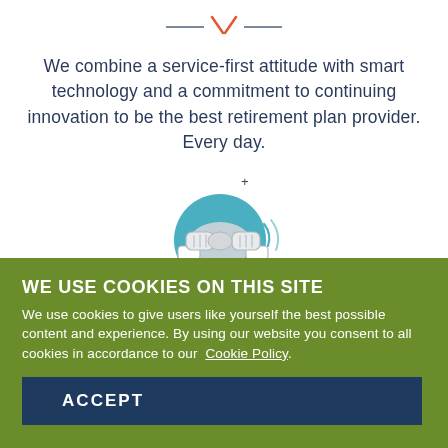[Figure (illustration): Orange and grey decorative divider with an X-shaped icon flanked by horizontal lines]
We combine a service-first attitude with smart technology and a commitment to continuing innovation to be the best retirement plan provider. Every day.
[Figure (illustration): Circular teal icon with a handshake illustration and a small plus sign]
WE USE COOKIES ON THIS SITE
We use cookies to give users like yourself the best possible content and experience. By using our website you consent to all cookies in accordance to our Cookie Policy.